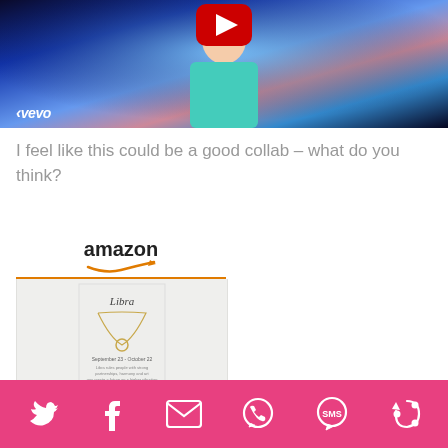[Figure (screenshot): YouTube video thumbnail showing a person in teal/cyan top with Vevo watermark and YouTube play button overlay, dark blue background]
I feel like this could be a good collab – what do you think?
[Figure (screenshot): Amazon product card showing Wishoney Libra Necklace for... priced at $7.98 with Prime badge, Amazon logo with orange arrow at top]
[Figure (infographic): Pink social sharing bar at bottom with icons for Twitter, Facebook, Email, WhatsApp, SMS, and another share icon]